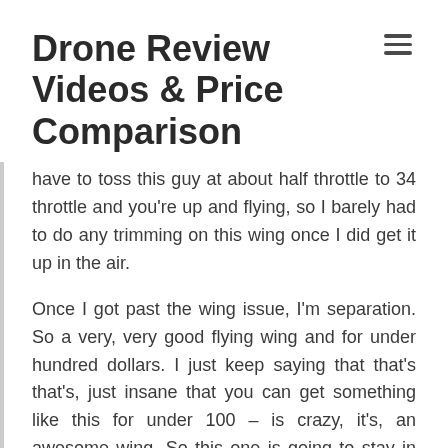Drone Review Videos & Price Comparison
have to toss this guy at about half throttle to 34 throttle and you're up and flying, so I barely had to do any trimming on this wing once I did get it up in the air.
Once I got past the wing issue, I'm separation. So a very, very good flying wing and for under hundred dollars. I just keep saying that that's that's, just insane that you can get something like this for under 100 – is crazy, it's, an awesome wing. So this one is going to stay in my collection and I'm. Not going to give this one away, so you have to get your own. You can check out the link below and I'll try to put some battery links down there for you guys and help